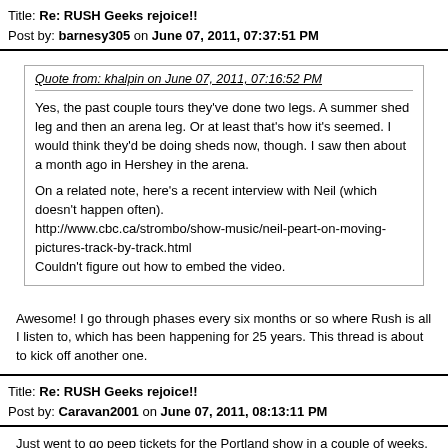Title: Re: RUSH Geeks rejoice!!
Post by: barnesy305 on June 07, 2011, 07:37:51 PM
Quote from: khalpin on June 07, 2011, 07:16:52 PM

Yes, the past couple tours they've done two legs. A summer shed leg and then an arena leg. Or at least that's how it's seemed. I would think they'd be doing sheds now, though. I saw then about a month ago in Hershey in the arena.

On a related note, here's a recent interview with Neil (which doesn't happen often).
http://www.cbc.ca/strombo/show-music/neil-peart-on-moving-pictures-track-by-track.html
Couldn't figure out how to embed the video.
Awesome! I go through phases every six months or so where Rush is all I listen to, which has been happening for 25 years. This thread is about to kick off another one.
Title: Re: RUSH Geeks rejoice!!
Post by: Caravan2001 on June 07, 2011, 08:13:11 PM
Just went to go peep tickets for the Portland show in a couple of weeks. Cheapest I could find was $65 which is not a big deal, but it is the same night as My Morning Jacket, which I already have a ticket for. Oh well. Hopefully they will come around again (I say that every...